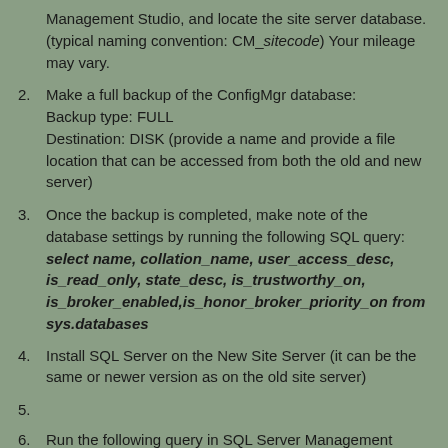Management Studio, and locate the site server database. (typical naming convention: CM_sitecode) Your mileage may vary.
2. Make a full backup of the ConfigMgr database: Backup type: FULL Destination: DISK (provide a name and provide a file location that can be accessed from both the old and new server)
3. Once the backup is completed, make note of the database settings by running the following SQL query: select name, collation_name, user_access_desc, is_read_only, state_desc, is_trustworthy_on, is_broker_enabled,is_honor_broker_priority_on from sys.databases
4. Install SQL Server on the New Site Server (it can be the same or newer version as on the old site server)
5.
6. Run the following query in SQL Server Management